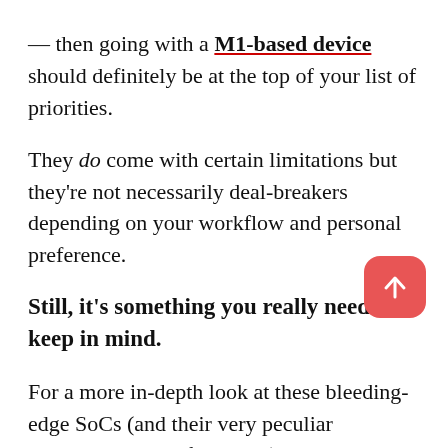— then going with a M1-based device should definitely be at the top of your list of priorities.
They do come with certain limitations but they're not necessarily deal-breakers depending on your workflow and personal preference.
Still, it's something you really need to keep in mind.
For a more in-depth look at these bleeding-edge SoCs (and their very peculiar drawbacks and deficiencies), make sure to read the following piece.